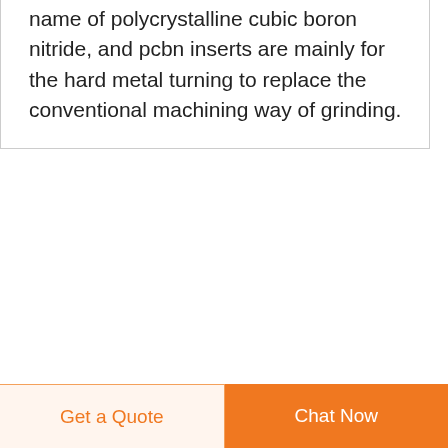name of polycrystalline cubic boron nitride, and pcbn inserts are mainly for the hard metal turning to replace the conventional machining way of grinding.
[Figure (logo): Blue square logo with white helicopter/tool image]
SUN-POWER DAGLICHT THERAPIE SAUNAS -> NIEUW BIJ
Licht als medicijn. Licht heeft veel invloed op ons lichaam. Licht (en geen licht) stuurt de biologische klok van het
[Figure (infographic): Dark blue circle with white upward arrow (scroll-to-top button)]
Get a Quote   Chat Now